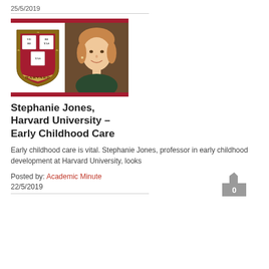25/5/2019
[Figure (photo): Harvard University shield logo on left, photo of Stephanie Jones (woman with blonde hair, smiling) on right, framed by crimson red bars top and bottom]
Stephanie Jones, Harvard University – Early Childhood Care
Early childhood care is vital. Stephanie Jones, professor in early childhood development at Harvard University, looks
Posted by: Academic Minute
22/5/2019